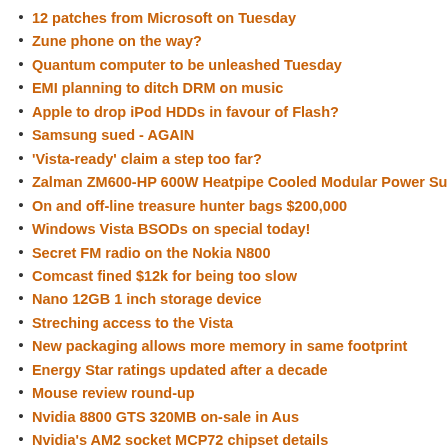12 patches from Microsoft on Tuesday
Zune phone on the way?
Quantum computer to be unleashed Tuesday
EMI planning to ditch DRM on music
Apple to drop iPod HDDs in favour of Flash?
Samsung sued - AGAIN
'Vista-ready' claim a step too far?
Zalman ZM600-HP 600W Heatpipe Cooled Modular Power Supp...
On and off-line treasure hunter bags $200,000
Windows Vista BSODs on special today!
Secret FM radio on the Nokia N800
Comcast fined $12k for being too slow
Nano 12GB 1 inch storage device
Streching access to the Vista
New packaging allows more memory in same footprint
Energy Star ratings updated after a decade
Mouse review round-up
Nvidia 8800 GTS 320MB on-sale in Aus
Nvidia's AM2 socket MCP72 chipset details
YouTube founders get their payslips
Windows Mobile 6 gallery
Man bites dog, then dog bites man
Samsung settles price-fixing lawsuit
Intel Discrete GPUs Roadmap Overview
Gaming news round-up
World's fastest RAM2 Corsair XMS2 Dominator PC2-10000